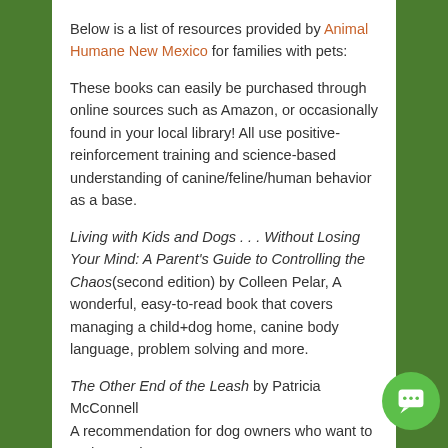Below is a list of resources provided by Animal Humane New Mexico for families with pets:
These books can easily be purchased through online sources such as Amazon, or occasionally found in your local library! All use positive-reinforcement training and science-based understanding of canine/feline/human behavior as a base.
Living with Kids and Dogs . . . Without Losing Your Mind: A Parent's Guide to Controlling the Chaos(second edition) by Colleen Pelar, A wonderful, easy-to-read book that covers managing a child+dog home, canine body language, problem solving and more.
The Other End of the Leash by Patricia McConnell A recommendation for dog owners who want to understand...